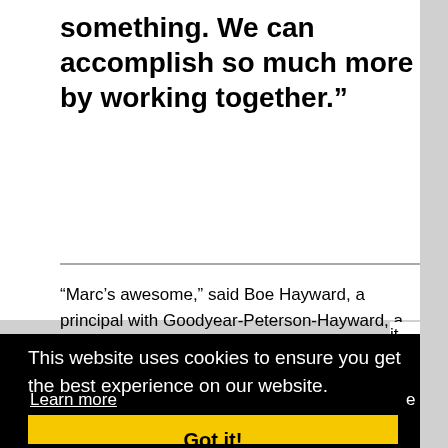something. We can accomplish so much more by working together.”
“Marc’s awesome,” said Boe Hayward, a principal with Goodyear-Peterson-Hayward, a Bay Area government affairs agency that has worked with it.
This website uses cookies to ensure you get the best experience on our website.
Learn more
Got it!